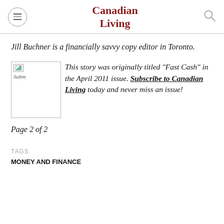Canadian Living
Jill Buchner is a financially savvy copy editor in Toronto.
[Figure (other): Thumbnail image placeholder with broken image icon and 'Subm' text label]
This story was originally titled "Fast Cash" in the April 2011 issue. Subscribe to Canadian Living today and never miss an issue!
Page 2 of 2
TAGS
MONEY AND FINANCE